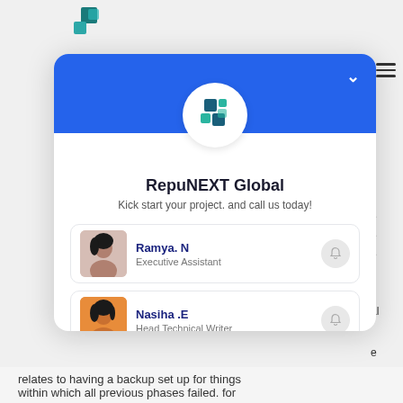[Figure (screenshot): RepuNEXT Global chat/contact widget modal showing company logo, name, tagline, and four contact cards for Ramya N (Executive Assistant), Nasiha E (Head Technical Writer), Praveen Dilip (MD & CTO), and Andrew Stevens (Sales Director)]
RepuNEXT Global
Kick start your project. and call us today!
Ramya. N
Executive Assistant
Nasiha .E
Head Technical Writer
Praveen Dilip
MD & CTO
Andrew Stevens
Sales Director
relates to having a backup set up for things
within which all previous phases failed. for